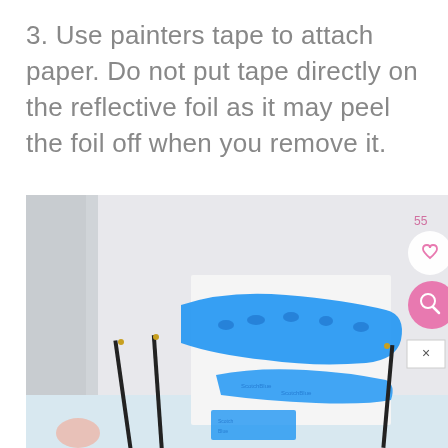3. Use painters tape to attach paper. Do not put tape directly on the reflective foil as it may peel the foil off when you remove it.
[Figure (photo): A photo showing blue painters tape wrapped around a white reflective foil/paper object, with several thin black rods/pencils standing nearby on a light blue surface. Social media UI overlays visible on right side including a heart/like button (55 likes) and a search button.]